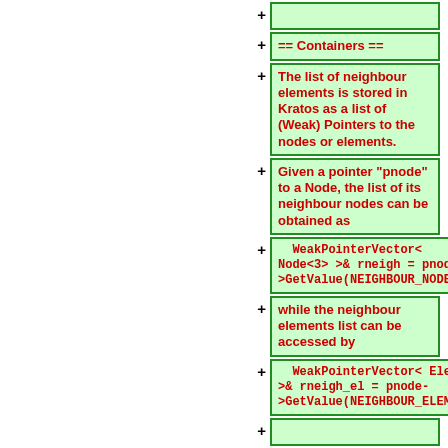(empty box)
== Containers ==
The list of neighbour elements is stored in Kratos as a list of (Weak) Pointers to the nodes or elements.
Given a pointer "pnode" to a Node, the list of its neighbour nodes can be obtained as
WeakPointerVector< Node<3> >& rneigh = pnode->GetValue(NEIGHBOUR_NODES);
while the neighbour elements list can be accessed by
WeakPointerVector< Element >& rneigh_el = pnode->GetValue(NEIGHBOUR_ELEMENTS);
(empty box)
The two containers are standard and can be treated as normal stl containers. A loop over nodes can thus be done by
WeakPointerVector< Node<3>